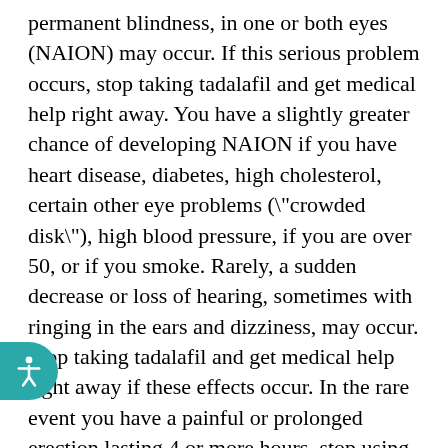permanent blindness, in one or both eyes (NAION) may occur. If this serious problem occurs, stop taking tadalafil and get medical help right away. You have a slightly greater chance of developing NAION if you have heart disease, diabetes, high cholesterol, certain other eye problems ("crowded disk"), high blood pressure, if you are over 50, or if you smoke. Rarely, a sudden decrease or loss of hearing, sometimes with ringing in the ears and dizziness, may occur. Stop taking tadalafil and get medical help right away if these effects occur. In the rare event you have a painful or prolonged erection lasting 4 or more hours, stop using this drug and get medical help right away, or permanent problems could occur. A very serious allergic reaction to this drug is rare. However, get medical help right away if you notice any symptoms of a serious allergic reaction, including: rash, itching/swelling (especially of the face/tongue/throat), severe dizziness, trouble breathing. This is not a complete list of possible side effects. If you notice other effects not listed above, contact your doctor or pharmacist. In the US - Call your